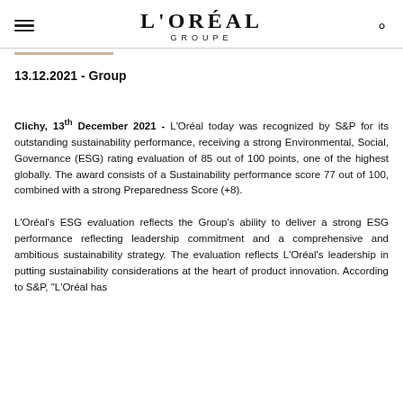L'ORÉAL GROUPE
13.12.2021 - Group
Clichy, 13th December 2021 - L'Oréal today was recognized by S&P for its outstanding sustainability performance, receiving a strong Environmental, Social, Governance (ESG) rating evaluation of 85 out of 100 points, one of the highest globally. The award consists of a Sustainability performance score 77 out of 100, combined with a strong Preparedness Score (+8).
L'Oréal's ESG evaluation reflects the Group's ability to deliver a strong ESG performance reflecting leadership commitment and a comprehensive and ambitious sustainability strategy. The evaluation reflects L'Oréal's leadership in putting sustainability considerations at the heart of product innovation. According to S&P, "L'Oréal has...